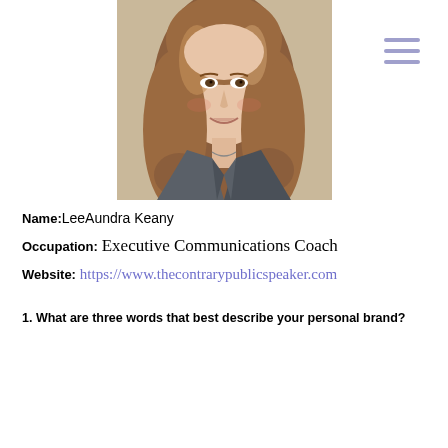[Figure (photo): Professional headshot of LeeAundra Keany, a woman with long auburn/brown wavy hair wearing a dark grey blazer, smiling at the camera against a light background.]
Name: LeeAundra Keany
Occupation: Executive Communications Coach
Website: https://www.thecontrarypublicspeaker.com
1. What are three words that best describe your personal brand?